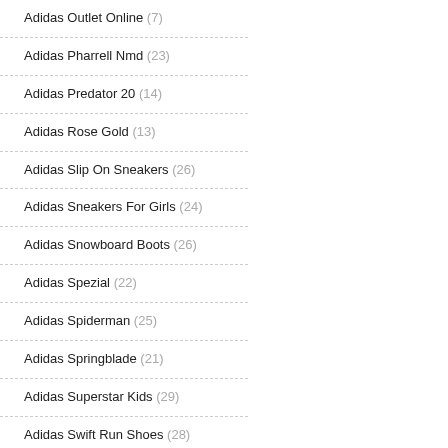Adidas Outlet Online (7)
Adidas Pharrell Nmd (23)
Adidas Predator 20 (14)
Adidas Rose Gold (13)
Adidas Slip On Sneakers (26)
Adidas Sneakers For Girls (24)
Adidas Snowboard Boots (26)
Adidas Spezial (22)
Adidas Spiderman (25)
Adidas Springblade (21)
Adidas Superstar Kids (29)
Adidas Swift Run Shoes (28)
Adidas Terrex Swift R2 Gtx (22)
Adidas Top Ten Hi (22)
Adidas U Path Run (21)
Adidas Ultra Boost 10 Mens (30)